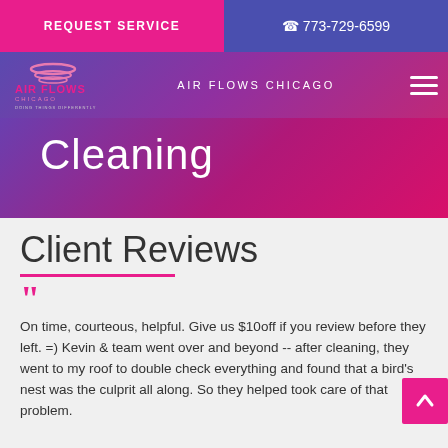REQUEST SERVICE
773-729-6599
[Figure (logo): Air Flows Chicago logo with stylized air flow swirls above the text]
AIR FLOWS CHICAGO
Cleaning
Client Reviews
On time, courteous, helpful. Give us $10off if you review before they left. =) Kevin & team went over and beyond -- after cleaning, they went to my roof to double check everything and found that a bird's nest was the culprit all along. So they helped took care of that problem.